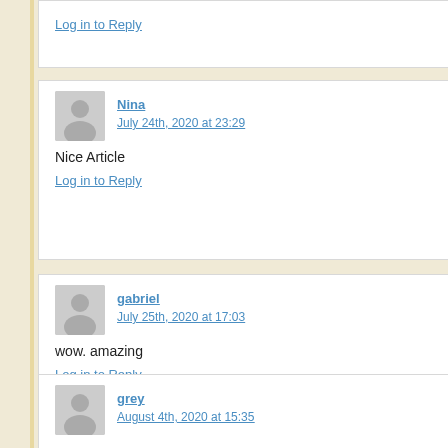Log in to Reply
Nina
July 24th, 2020 at 23:29
Nice Article
Log in to Reply
gabriel
July 25th, 2020 at 17:03
wow. amazing
Log in to Reply
grey
August 4th, 2020 at 15:35